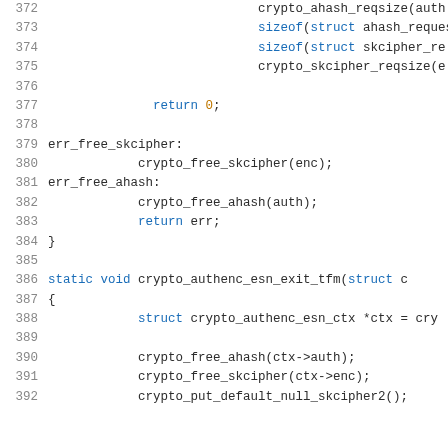[Figure (screenshot): Source code listing showing C code lines 372-392 with line numbers on the left. Code includes crypto functions like crypto_ahash_reqsize, sizeof struct calls, return statements, error labels err_free_skcipher and err_free_ahash, and a static void function crypto_authenc_esn_exit_tfm with struct initialization and crypto free calls.]